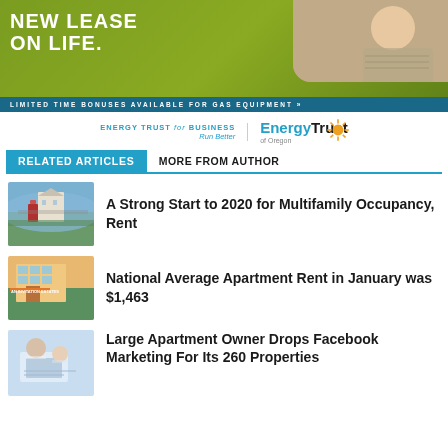[Figure (illustration): Advertisement banner with green background showing 'NEW LEASE ON LIFE.' text and a person image, with teal strip at bottom reading 'LIMITED TIME BONUSES AVAILABLE FOR GAS EQUIPMENT »']
[Figure (logo): Energy Trust for Business / Run Better | EnergyTrust of Oregon logo with orange sunburst]
RELATED ARTICLES | MORE FROM AUTHOR
[Figure (photo): Thumbnail photo of city street with Capitol building in background]
A Strong Start to 2020 for Multifamily Occupancy, Rent
[Figure (photo): Thumbnail photo of apartment building with orange label]
National Average Apartment Rent in January was $1,463
[Figure (photo): Thumbnail photo of two people working on laptop]
Large Apartment Owner Drops Facebook Marketing For Its 260 Properties